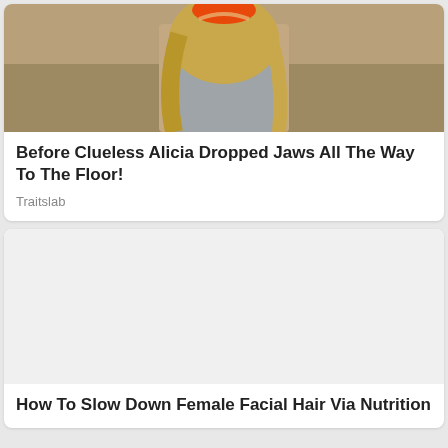[Figure (photo): Photo of a woman with long blonde hair outdoors in a desert-like setting, partially cropped at the top of the card]
Before Clueless Alicia Dropped Jaws All The Way To The Floor!
Traitslab
[Figure (photo): Large white/blank image placeholder for second article card]
How To Slow Down Female Facial Hair Via Nutrition